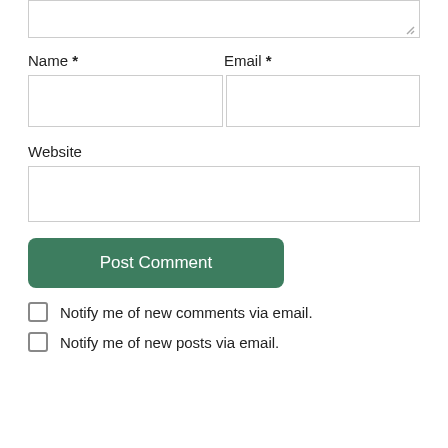[Figure (screenshot): Partial comment form showing textarea (cropped at top), Name and Email fields side by side, Website field, Post Comment button, and two checkboxes for notification preferences.]
Name *
Email *
Website
Post Comment
Notify me of new comments via email.
Notify me of new posts via email.